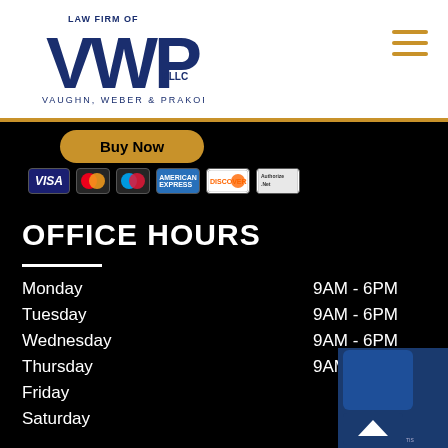[Figure (logo): Law Firm of VWP PLLC - Vaughn, Weber & Prakope logo in dark blue]
[Figure (infographic): Hamburger/menu icon with three horizontal gold lines]
[Figure (infographic): Buy Now button (gold/orange rounded) with Visa, Mastercard, American Express, Discover, and another credit card payment icons below]
OFFICE HOURS
| Day | Hours |
| --- | --- |
| Monday | 9AM - 6PM |
| Tuesday | 9AM - 6PM |
| Wednesday | 9AM - 6PM |
| Thursday | 9AM - 6PM |
| Friday | 9A... |
| Saturday |  |
| Sunday | Clo... |
[Figure (infographic): Scroll to top arrow button and chat widget overlay in bottom right]